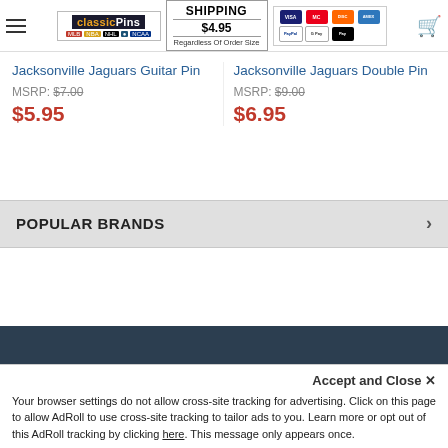ClassicPins | SHIPPING $4.95 Regardless Of Order Size | Payment methods: Visa, Mastercard, Discover, Amex, PayPal, Google Pay, Apple Pay
Jacksonville Jaguars Guitar Pin
MSRP: $7.00
$5.95
Jacksonville Jaguars Double Pin
MSRP: $9.00
$6.95
POPULAR BRANDS
SUBSCRIBE TO OUR NEWSLETTER
Accept and Close ✕
Your browser settings do not allow cross-site tracking for advertising. Click on this page to allow AdRoll to use cross-site tracking to tailor ads to you. Learn more or opt out of this AdRoll tracking by clicking here. This message only appears once.